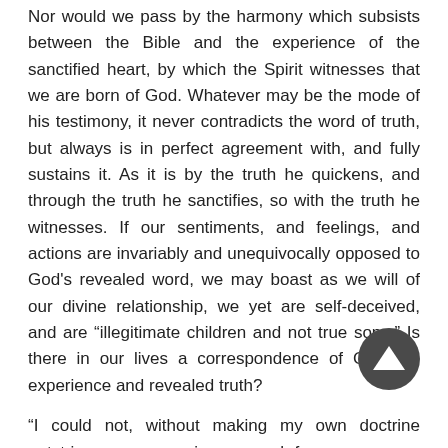Nor would we pass by the harmony which subsists between the Bible and the experience of the sanctified heart, by which the Spirit witnesses that we are born of God. Whatever may be the mode of his testimony, it never contradicts the word of truth, but always is in perfect agreement with, and fully sustains it. As it is by the truth he quickens, and through the truth he sanctifies, so with the truth he witnesses. If our sentiments, and feelings, and actions are invariably and unequivocally opposed to God's revealed word, we may boast as we will of our divine relationship, we yet are self-deceived, and are "illegitimate children and not true sons." Is there in our lives a correspondence of Christian experience and revealed truth?
"I could not, without making my own doctrine outstrip my own experience, vouch for any
[Figure (other): A dark circular navigation button with an upward-pointing triangle arrow icon]